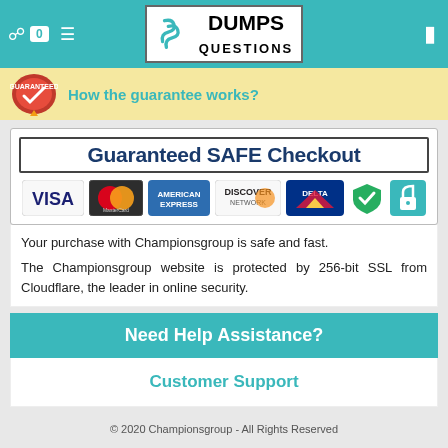Dumps Questions — logo header with navigation icons
How the guarantee works?
[Figure (infographic): Guaranteed SAFE Checkout banner with VISA, MasterCard, American Express, Discover Network, Delta, security checkmark, and lock icons]
Your purchase with Championsgroup is safe and fast.
The Championsgroup website is protected by 256-bit SSL from Cloudflare, the leader in online security.
Need Help Assistance?
Customer Support
© 2020 Championsgroup - All Rights Reserved